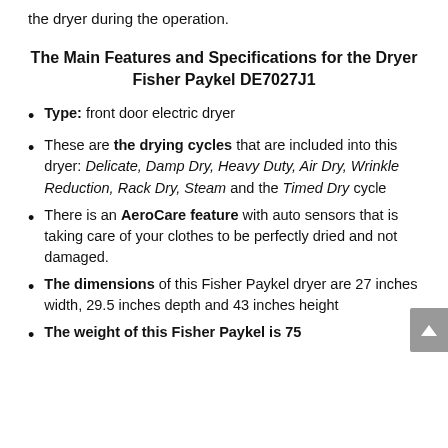the dryer during the operation.
The Main Features and Specifications for the Dryer Fisher Paykel DE7027J1
Type: front door electric dryer
These are the drying cycles that are included into this dryer: Delicate, Damp Dry, Heavy Duty, Air Dry, Wrinkle Reduction, Rack Dry, Steam and the Timed Dry cycle
There is an AeroCare feature with auto sensors that is taking care of your clothes to be perfectly dried and not damaged.
The dimensions of this Fisher Paykel dryer are 27 inches width, 29.5 inches depth and 43 inches height
The weight of this Fisher Paykel is 75...